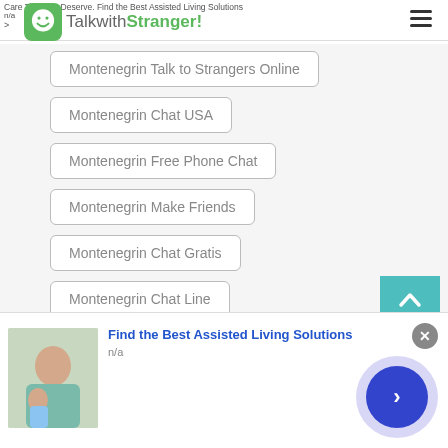Care That You Deserve. Find the Best Assisted Living Solutions
n/a
>
[Figure (logo): TalkwithStranger! logo with green smiley face icon]
Montenegrin Talk to Strangers Online
Montenegrin Chat USA
Montenegrin Free Phone Chat
Montenegrin Make Friends
Montenegrin Chat Gratis
Montenegrin Chat Line
Montenegrin Cam Chat
Montenegrin Free Call
[Figure (infographic): Bottom advertisement banner: Find the Best Assisted Living Solutions, n/a, with photo of elderly person and caregiver, blue CTA arrow button, and close X button]